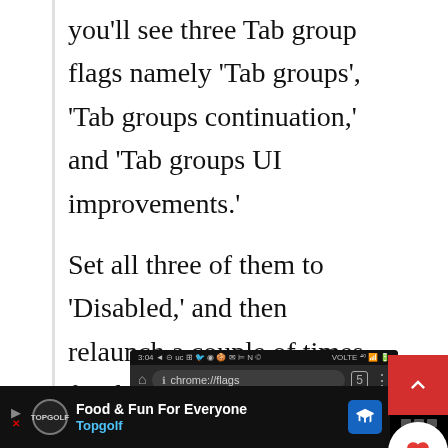you'll see three Tab group flags namely 'Tab groups', 'Tab groups continuation,' and 'Tab groups UI improvements.'
Set all three of them to 'Disabled,' and then relaunch a couple of times for the grouping to be disabled while keeping the grid-view as it is.
[Figure (screenshot): Android Chrome browser screenshot showing chrome://flags URL bar on dark background]
[Figure (screenshot): Advertisement banner for Topgolf: 'Food & Fun For Everyone' with Topgolf logo and navigation arrow icon]